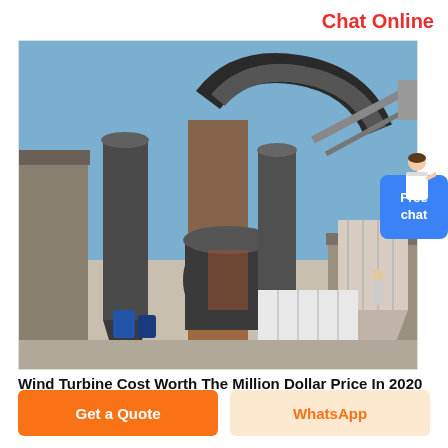Chat Online
[Figure (photo): Industrial grinding mill machinery at an outdoor facility, showing large cylindrical mill, dust collection cyclones with large curved ducts, conveyor belt structure, and white storage bins or material piles in the foreground, against a blue sky background.]
Wind Turbine Cost Worth The Million Dollar Price In 2020
Get a Quote
WhatsApp